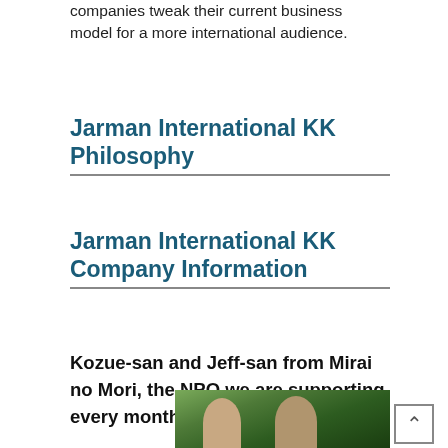companies tweak their current business model for a more international audience.
Jarman International KK Philosophy
Jarman International KK Company Information
Kozue-san and Jeff-san from Mirai no Mori, the NPO we are supporting every month, say hello to you:)
[Figure (photo): Two people standing in a forested outdoor area, a woman on the left and a bald man on the right, both wearing green shirts.]